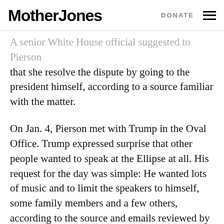Mother Jones | DONATE
A senior White House official suggested to Pierson that she resolve the dispute by going to the president himself, according to a source familiar with the matter.
On Jan. 4, Pierson met with Trump in the Oval Office. Trump expressed surprise that other people wanted to speak at the Ellipse at all. His request for the day was simple: He wanted lots of music and to limit the speakers to himself, some family members and a few others, according to the source and emails reviewed by ProPublica. The president asked if there was another venue where people like Alexander and Roger Stone could speak.
Pierson...